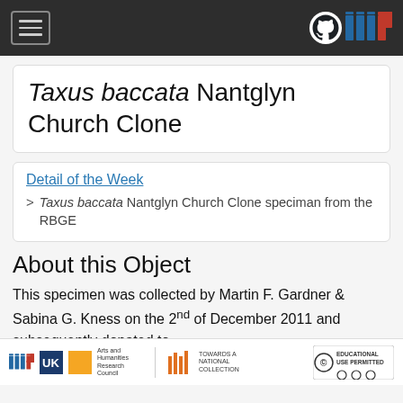Navigation bar with hamburger menu and GitHub IIIF logo
Taxus baccata Nantglyn Church Clone
Detail of the Week > Taxus baccata Nantglyn Church Clone speciman from the RBGE
About this Object
This specimen was collected by Martin F. Gardner & Sabina G. Kness on the 2nd of December 2011 and subsequently donated to
IIIF, UKRI Arts and Humanities Research Council, Towards a National Collection logos; Educational Use Permitted